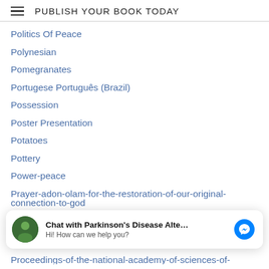PUBLISH YOUR BOOK TODAY
Politics Of Peace
Polynesian
Pomegranates
Portugese Português (Brazil)
Possession
Poster Presentation
Potatoes
Pottery
Power-peace
Prayer-adon-olam-for-the-restoration-of-our-original-connection-to-god
Precentral-gyrus
President
Chat with Parkinson's Disease Alte... Hi! How can we help you?
Proceedings-of-the-national-academy-of-sciences-of-